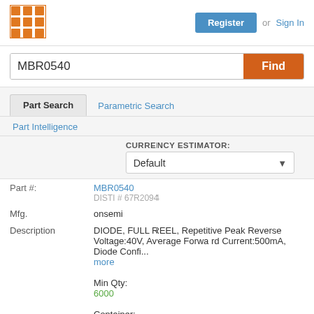[Figure (logo): Orange grid/squares logo icon in top-left header]
Register  or  Sign In
MBR0540
Find
Part Search   Parametric Search
Part Intelligence
CURRENCY ESTIMATOR: Default
Part #:  MBR0540  DISTI # 67R2094
| Field | Value |
| --- | --- |
| Mfg. | onsemi |
| Description | DIODE, FULL REEL, Repetitive Peak Reverse Voltage:40V, Average Forward Current:500mA, Diode Confi...  more
Min Qty:
6000
Container:
TAPE & REEL FULL |
|  | Full Details |